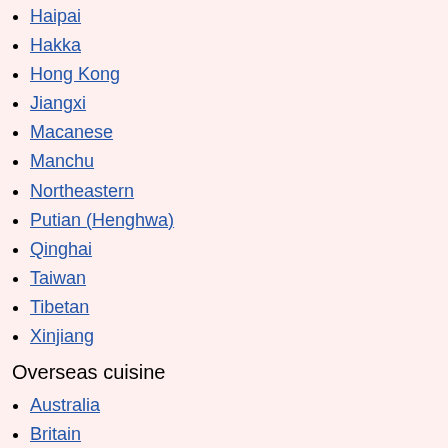Haipai
Hakka
Hong Kong
Jiangxi
Macanese
Manchu
Northeastern
Putian (Henghwa)
Qinghai
Taiwan
Tibetan
Xinjiang
Overseas cuisine
Australia
Britain
Burma
Canada
Caribbean
Philippines
India
Indonesia
Japan
Latin America